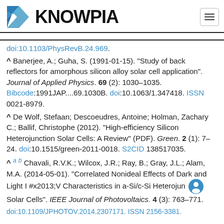KNOWPIA
doi:10.1103/PhysRevB.24.969.
^ Banerjee, A.; Guha, S. (1991-01-15). "Study of back reflectors for amorphous silicon alloy solar cell application". Journal of Applied Physics. 69 (2): 1030–1035. Bibcode:1991JAP....69.1030B. doi:10.1063/1.347418. ISSN 0021-8979.
^ De Wolf, Stefaan; Descoeudres, Antoine; Holman, Zachary C.; Ballif, Christophe (2012). "High-efficiency Silicon Heterojunction Solar Cells: A Review" (PDF). Green. 2 (1): 7–24. doi:10.1515/green-2011-0018. S2CID 138517035.
^ a b Chavali, R.V.K.; Wilcox, J.R.; Ray, B.; Gray, J.L.; Alam, M.A. (2014-05-01). "Correlated Nonideal Effects of Dark and Light I #x2013;V Characteristics in a-Si/c-Si Heterojunction Solar Cells". IEEE Journal of Photovoltaics. 4 (3): 763–771.
doi:10.1109/JPHOTOV.2014.2307171. ISSN 2156-3381.